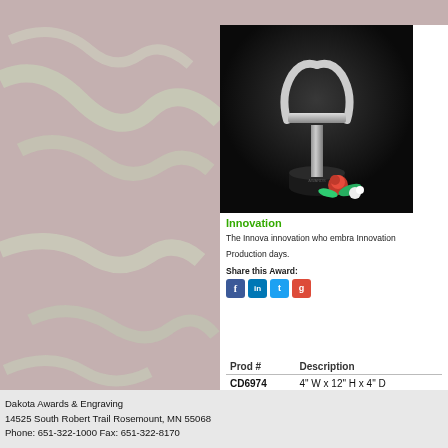[Figure (photo): Crystal/glass innovation award trophy on dark background with red rose decoration]
Innovation
The Innovation award recognizes innovation and those who embrace Innovation
Production days.
Share this Award:
| Prod # | Description |
| --- | --- |
| CD6974 | 4" W x 12" H x 4" D |
Go to Page: [Prev] [129] [130] [...]
Dakota Awards & Engraving
14525 South Robert Trail Rosemount, MN 55068
Phone: 651-322-1000 Fax: 651-322-8170